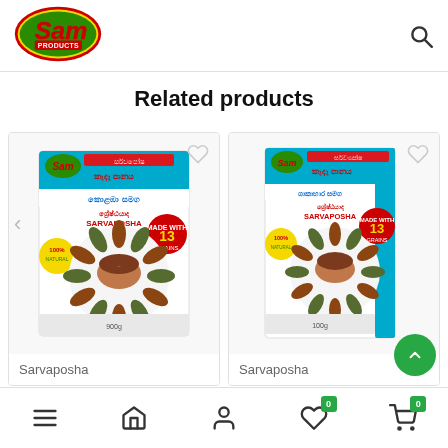[Figure (logo): Sam Products logo - green oval with red and yellow 'Sam' text and 'PRODUCTS' subtitle]
Related products
[Figure (photo): Sarvaposha product package - kaenda panaya with Sinhala text, sunflower design, made with 13 grains, 900g]
Sarvaposha
[Figure (photo): Sarvaposha product package - kaenda panaya variant with Sinhala text, sunflower design, made with 13 grains, 100g]
Sarvaposha
Navigation bar with menu, home, user, wishlist (0), cart (0) icons